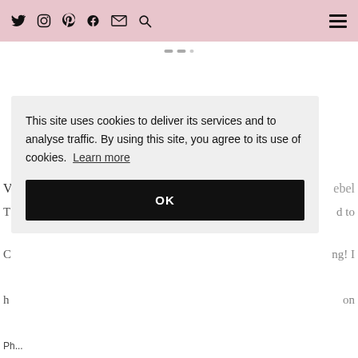Social media icons: Twitter, Instagram, Pinterest, Facebook, Email, Search | Hamburger menu
[Figure (screenshot): Slider dots / navigation indicators at top of content area]
This site uses cookies to deliver its services and to analyse traffic. By using this site, you agree to its use of cookies. Learn more
OK
ebel
d to
ng! I
on